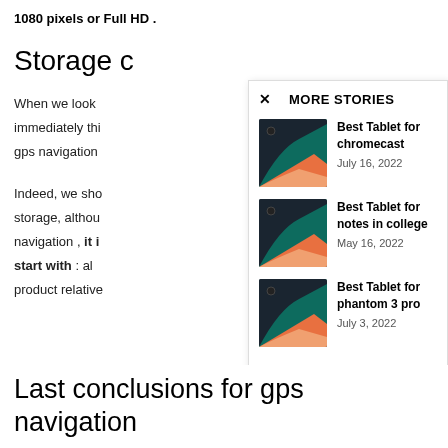1080 pixels or Full HD .
Storage c
When we look immediately thi gps navigation
Indeed, we sho storage, althou navigation , it i start with : al product relative
[Figure (screenshot): More Stories overlay panel with close X button and three tablet article links: Best Tablet for chromecast (July 16, 2022), Best Tablet for notes in college (May 16, 2022), Best Tablet for phantom 3 pro (July 3, 2022)]
Last conclusions for gps navigation